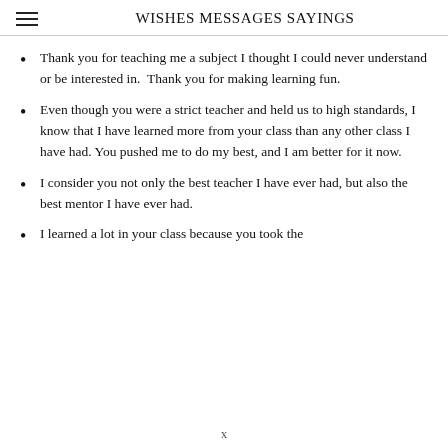WISHES MESSAGES SAYINGS
Thank you for teaching me a subject I thought I could never understand or be interested in.  Thank you for making learning fun.
Even though you were a strict teacher and held us to high standards, I know that I have learned more from your class than any other class I have had. You pushed me to do my best, and I am better for it now.
I consider you not only the best teacher I have ever had, but also the best mentor I have ever had.
I learned a lot in your class because you took the